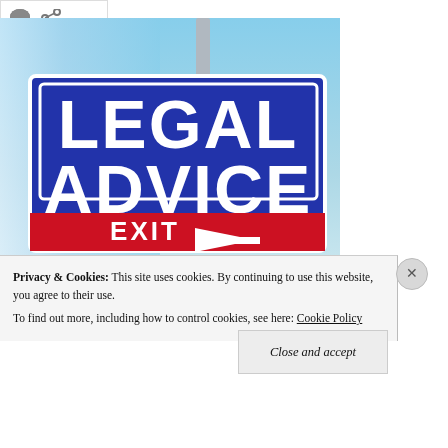[Figure (other): Two social media icons: a speech bubble (comment) icon and a share/network icon, shown in dark gray on white background]
[Figure (photo): A large blue sign reading 'LEGAL ADVICE' in white bold letters, with a red section at the bottom showing 'EXIT' and a white arrow, mounted on a metal pole against a blue sky background]
Privacy & Cookies: This site uses cookies. By continuing to use this website, you agree to their use.
To find out more, including how to control cookies, see here: Cookie Policy
Close and accept